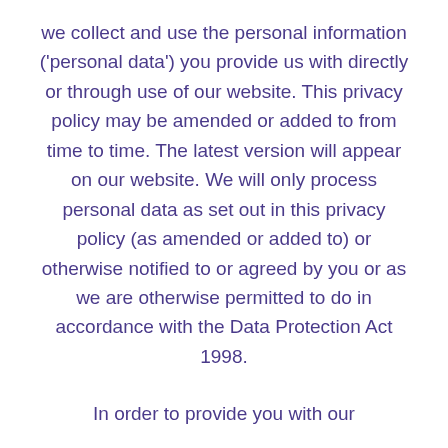we collect and use the personal information ('personal data') you provide us with directly or through use of our website. This privacy policy may be amended or added to from time to time. The latest version will appear on our website. We will only process personal data as set out in this privacy policy (as amended or added to) or otherwise notified to or agreed by you or as we are otherwise permitted to do in accordance with the Data Protection Act 1998.
In order to provide you with our